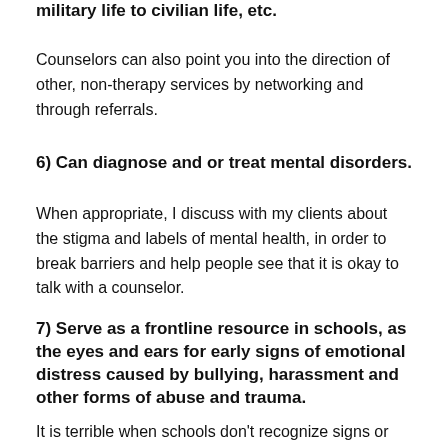military life to civilian life, etc.
Counselors can also point you into the direction of other, non-therapy services by networking and through referrals.
6) Can diagnose and or treat mental disorders.
When appropriate, I discuss with my clients about the stigma and labels of mental health, in order to break barriers and help people see that it is okay to talk with a counselor.
7) Serve as a frontline resource in schools, as the eyes and ears for early signs of emotional distress caused by bullying, harassment and other forms of abuse and trauma.
It is terrible when schools don't recognize signs or